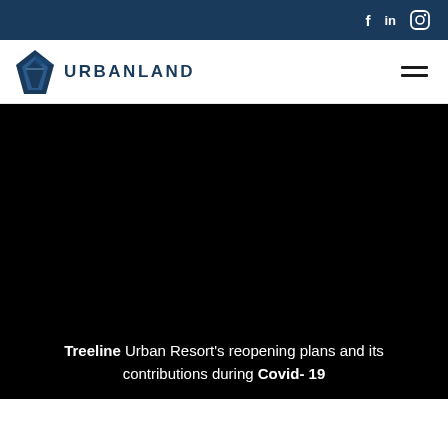f  in  [instagram icon]
[Figure (logo): Urban Land Institute logo — blue diamond/droplet shape with URBANLAND text]
[Figure (photo): Large black hero image area (photo content not visible)]
Treeline Urban Resort's reopening plans and its contributions during Covid-19